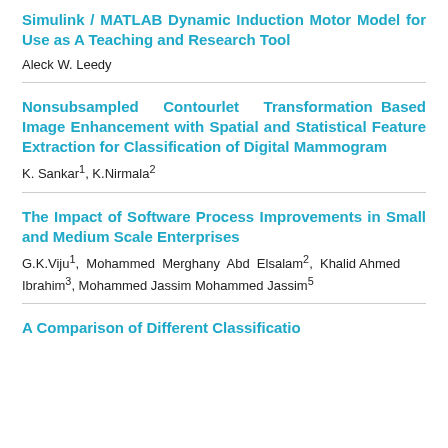Simulink / MATLAB Dynamic Induction Motor Model for Use as A Teaching and Research Tool
Aleck W. Leedy
Nonsubsampled Contourlet Transformation Based Image Enhancement with Spatial and Statistical Feature Extraction for Classification of Digital Mammogram
K. Sankar¹, K.Nirmala²
The Impact of Software Process Improvements in Small and Medium Scale Enterprises
G.K.Viju¹, Mohammed Merghany Abd Elsalam², Khalid Ahmed Ibrahim³, Mohammed Jassim Mohammed Jassim⁵
A Comparison of Different Classification...